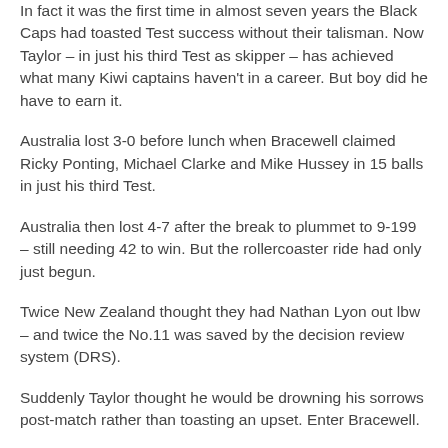In fact it was the first time in almost seven years the Black Caps had toasted Test success without their talisman. Now Taylor – in just his third Test as skipper – has achieved what many Kiwi captains haven't in a career. But boy did he have to earn it.
Australia lost 3-0 before lunch when Bracewell claimed Ricky Ponting, Michael Clarke and Mike Hussey in 15 balls in just his third Test.
Australia then lost 4-7 after the break to plummet to 9-199 – still needing 42 to win. But the rollercoaster ride had only just begun.
Twice New Zealand thought they had Nathan Lyon out lbw – and twice the No.11 was saved by the decision review system (DRS).
Suddenly Taylor thought he would be drowning his sorrows post-match rather than toasting an upset. Enter Bracewell.
The 21-year-old tattooed all-rounder clean bowled Lyon for nine, taking the DRS out of the picture – or so